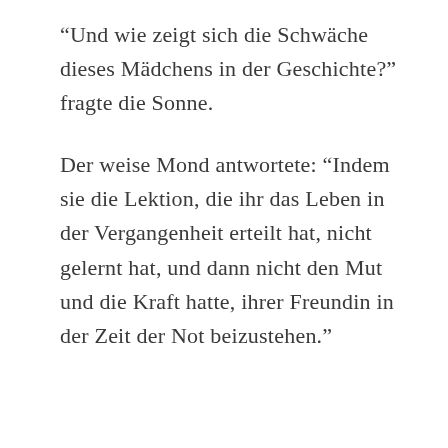“Und wie zeigt sich die Schwäche dieses Mädchens in der Geschichte?” fragte die Sonne.
Der weise Mond antwortete: “Indem sie die Lektion, die ihr das Leben in der Vergangenheit erteilt hat, nicht gelernt hat, und dann nicht den Mut und die Kraft hatte, ihrer Freundin in der Zeit der Not beizustehen.”